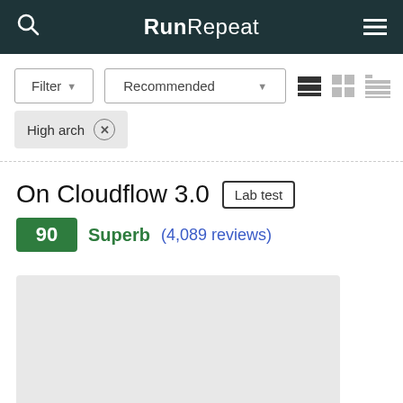RunRepeat
Filter  Recommended
High arch ×
On Cloudflow 3.0  Lab test
90  Superb  (4,089 reviews)
[Figure (photo): Product image placeholder (light gray box)]